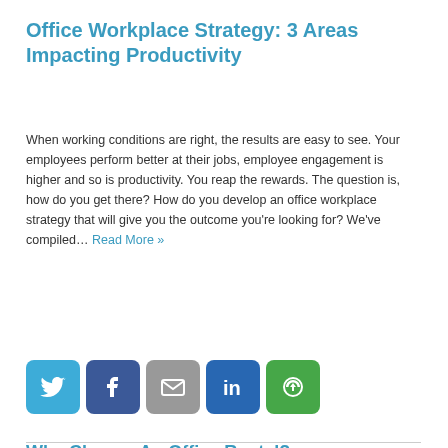Office Workplace Strategy: 3 Areas Impacting Productivity
When working conditions are right, the results are easy to see. Your employees perform better at their jobs, employee engagement is higher and so is productivity. You reap the rewards. The question is, how do you get there? How do you develop an office workplace strategy that will give you the outcome you're looking for? We've compiled... Read More »
[Figure (infographic): Row of five social sharing icon buttons: Twitter (blue bird), Facebook (blue f), Email (grey envelope), LinkedIn (blue 'in'), Buffer/share (green circular arrows)]
Why Choose An Office Rental?